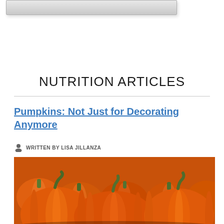[Figure (screenshot): Top navigation bar or UI element rendered as a grey gradient bar]
NUTRITION ARTICLES
Pumpkins: Not Just for Decorating Anymore
WRITTEN BY LISA JILLANZA
[Figure (photo): A large pile of orange pumpkins with green stems filling the frame]